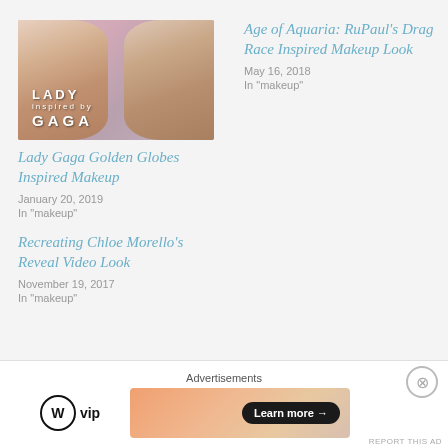[Figure (photo): Thumbnail image of two women with glamorous makeup, 'Lady Gaga' text overlay]
Lady Gaga Golden Globes Inspired Makeup
January 20, 2019
In "makeup"
Age of Aquaria: RuPaul's Drag Race Inspired Makeup Look
May 16, 2018
In "makeup"
Recreating Chloe Morello's Reveal Video Look
November 19, 2017
In "makeup"
Advertisements
[Figure (logo): WordPress VIP logo]
[Figure (photo): Advertisement banner with Learn more button]